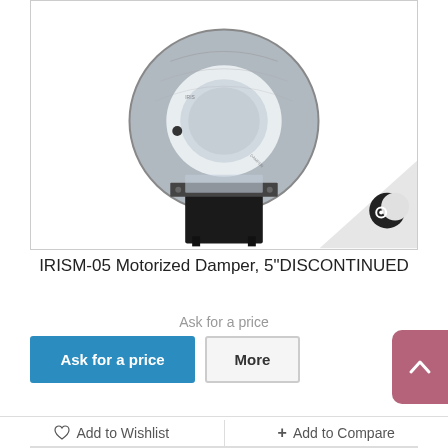[Figure (photo): IRISM-05 Motorized Damper product photo showing a circular metallic iris damper mounted on a black motor housing base, with a silver ring mechanism visible. A crescent moon logo watermark appears in the bottom right corner of the image.]
IRISM-05 Motorized Damper, 5"DISCONTINUED
Ask for a price
Ask for a price | More
♡ Add to Wishlist  + Add to Compare